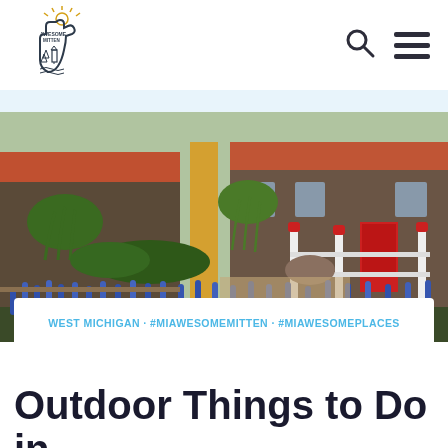Awesome Mitten logo, search icon, hamburger menu
[Figure (photo): Outdoor courtyard scene with Dutch-style brick buildings, white fence posts with red tops, weeping willow trees, purple/blue flowering plants in foreground, yellow pillar, red door on right building]
WEST MICHIGAN · #MIAWESOMEMITTEN · #MIAWESOMEPLACES
Outdoor Things to Do in Holland, Michigan